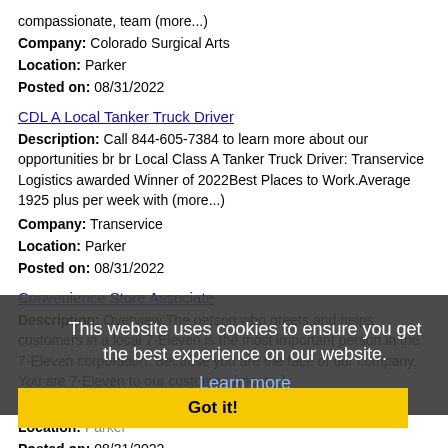compassionate, team (more...)
Company: Colorado Surgical Arts
Location: Parker
Posted on: 08/31/2022
CDL A Local Tanker Truck Driver
Description: Call 844-605-7384 to learn more about our opportunities br br Local Class A Tanker Truck Driver: Transervice Logistics awarded Winner of 2022Best Places to Work.Average 1925 plus per week with (more...)
Company: Transervice
Location: Parker
Posted on: 08/31/2022
Convenience Store Associate
Description: Overview:The person who greets and helps customers in a local 7-Eleven is the most important person in the 7-Eleven corporation. Because you are the face of our company. You are 7-Eleven to our customer. (more...)
Company: 7-Eleven, Inc.
Location: Parker
Posted on: 08/31/2022
Detailer
This website uses cookies to ensure you get the best experience on our website.
Learn more
Got it!